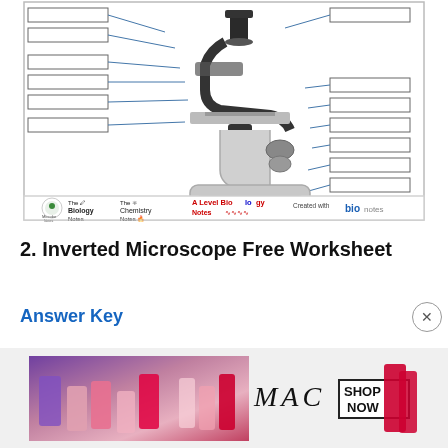[Figure (illustration): Diagram of a compound/upright microscope with empty label boxes connected by lines to various parts of the microscope, intended as a fill-in worksheet. Left side has 6 blank label boxes; right side has 7 blank label boxes. Bottom of the diagram box shows logos for The Biology Notes, The Chemistry Notes, A Level Biology Notes, and Created with bio.]
2. Inverted Microscope Free Worksheet
Answer Key